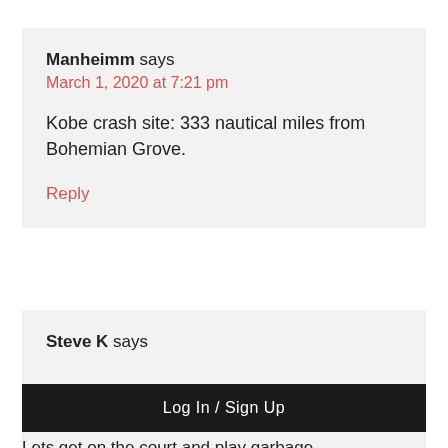Manheimm says
March 1, 2020 at 7:21 pm
Kobe crash site: 333 nautical miles from Bohemian Grove.
Reply
Steve K says
Log In / Sign Up
Lets get on the court  and play garbage